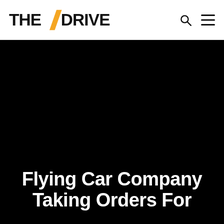THE / DRIVE
[Figure (photo): Black background hero image area for article]
Flying Car Company Taking Orders For